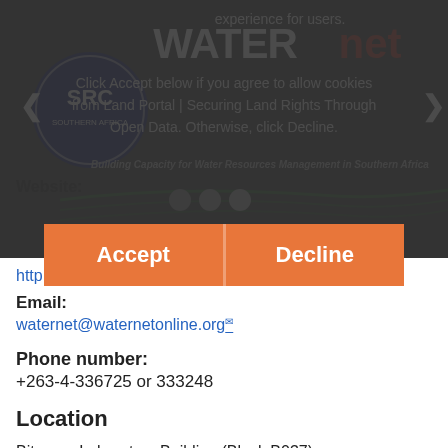[Figure (screenshot): Dark overlay cookie consent banner over WATERnet/SRC organization webpage header with logo, carousel arrows, and dots]
experience for users.
Click Accept below if you agree to allow cookies from Land Portal | Securing Land Rights Through Open Data. Otherwise, click Decline.
Building Capacity for Water Resources Management in Southern Africa
Website:
http://www.waternetonline.org/
Email:
waternet@waternetonline.org
Phone number:
+263-4-336725 or 333248
Location
Bitumen Laboratory Building (Block B037), University of Zimbabwe
Churchill Drive
Harare
Zimbabwe